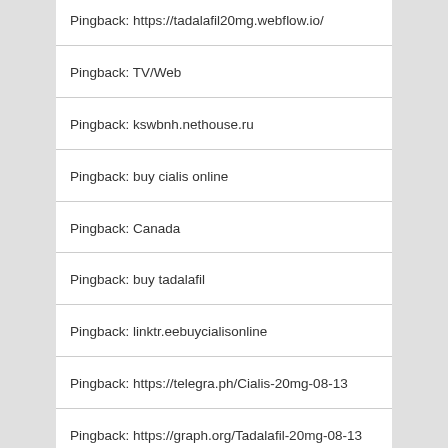Pingback: https://tadalafil20mg.webflow.io/
Pingback: TV/Web
Pingback: kswbnh.nethouse.ru
Pingback: buy cialis online
Pingback: Canada
Pingback: buy tadalafil
Pingback: linktr.eebuycialisonline
Pingback: https://telegra.ph/Cialis-20mg-08-13
Pingback: https://graph.org/Tadalafil-20mg-08-13